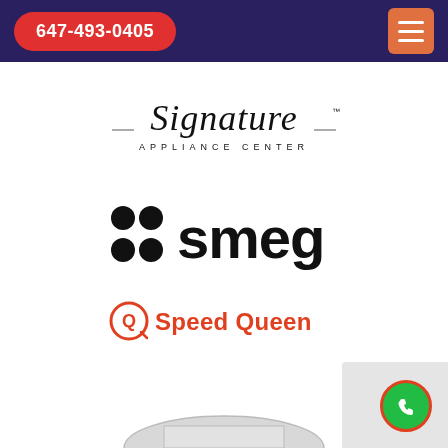647-493-0405
[Figure (logo): Signature Appliance Center logo — cursive script 'Signature' with 'APPLIANCE CENTER' below in spaced capitals]
[Figure (logo): SMEG brand logo — four black circles arranged in a 2x2 grid followed by the word 'smeg' in bold black sans-serif]
[Figure (logo): Speed Queen brand logo — orange circular icon with stylized Q and text 'Speed Queen' in bold orange]
[Figure (other): Bottom portion of a kitchen appliance (likely a refrigerator or range) partially visible at the bottom of the page]